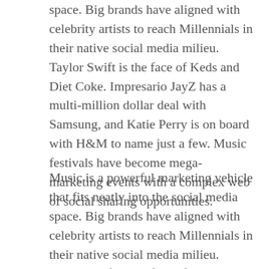space. Big brands have aligned with celebrity artists to reach Millennials in their native social media milieu. Taylor Swift is the face of Keds and Diet Coke. Impresario JayZ has a multi-million dollar deal with Samsung, and Katie Perry is on board with H&M to name just a few. Music festivals have become mega-marketing events with a complex web of social sharing opportunities.
Music is a powerful marketing vehicle that fits neatly into the social media space. Big brands have aligned with celebrity artists to reach Millennials in their native social media milieu. Taylor Swift is the face of Keds and Diet Coke.